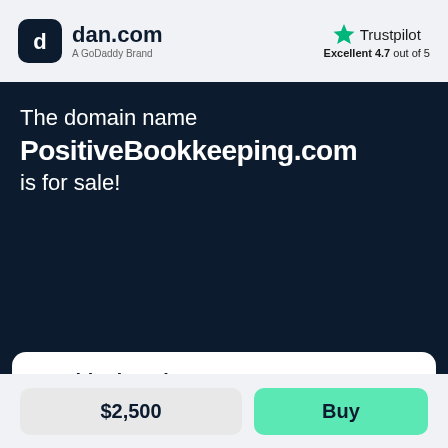[Figure (logo): dan.com logo - dark rounded square with 'd' icon, text 'dan.com' and subtitle 'A GoDaddy Brand']
[Figure (logo): Trustpilot logo with green star, text 'Trustpilot' and 'Excellent 4.7 out of 5']
The domain name PositiveBookkeeping.com is for sale!
Get this domain
$2,500
Buy